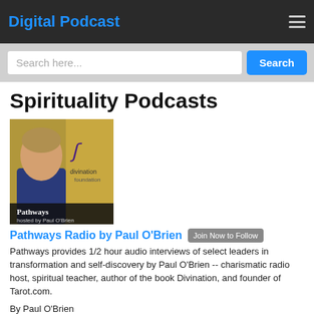Digital Podcast
Search here...
Spirituality Podcasts
[Figure (photo): Podcast thumbnail for Pathways Radio by Paul O'Brien — shows a man with the Divination Foundation logo and text 'Pathways hosted by Paul O'Brien']
Pathways Radio by Paul O'Brien
Pathways provides 1/2 hour audio interviews of select leaders in transformation and self-discovery by Paul O'Brien -- charismatic radio host, spiritual teacher, author of the book Divination, and founder of Tarot.com.
By Paul O'Brien
[Figure (photo): Black and white photo of a person, second podcast listing beginning to appear at the bottom of the page]